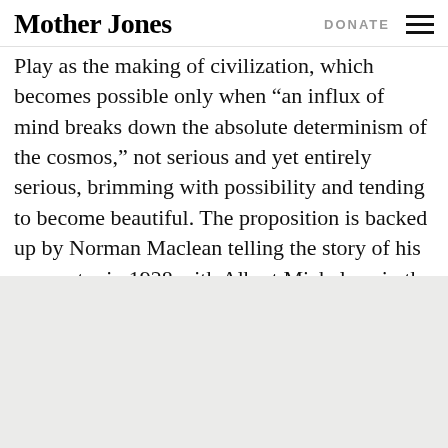Mother Jones | DONATE
Play as the making of civilization, which becomes possible only when “an influx of mind breaks down the absolute determinism of the cosmos,” not serious and yet entirely serious, brimming with possibility and tending to become beautiful. The proposition is backed up by Norman Maclean telling the story of his encounter in 1928 with Albert Michelson in the billiard room in the University of Chicago’s Quadrangle Club.